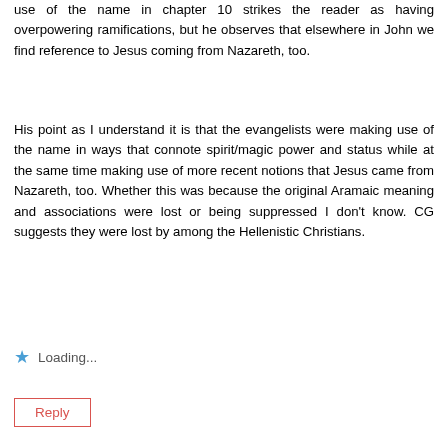use of the name in chapter 10 strikes the reader as having overpowering ramifications, but he observes that elsewhere in John we find reference to Jesus coming from Nazareth, too.
His point as I understand it is that the evangelists were making use of the name in ways that connote spirit/magic power and status while at the same time making use of more recent notions that Jesus came from Nazareth, too. Whether this was because the original Aramaic meaning and associations were lost or being suppressed I don't know. CG suggests they were lost by among the Hellenistic Christians.
Loading...
Reply